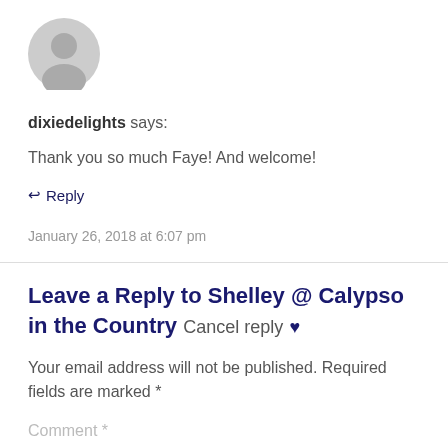[Figure (illustration): Gray circular default avatar/user icon]
dixiedelights says:
Thank you so much Faye! And welcome!
↩ Reply
January 26, 2018 at 6:07 pm
Leave a Reply to Shelley @ Calypso in the Country Cancel reply ♥
Your email address will not be published. Required fields are marked *
Comment *